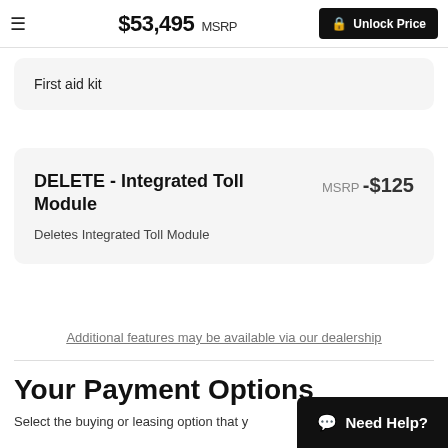$53,495 MSRP  Unlock Price
First aid kit
DELETE - Integrated Toll Module  MSRP -$125  Deletes Integrated Toll Module
Additional features may be available via our dealership
Your Payment Options
Select the buying or leasing option that y
Need Help?